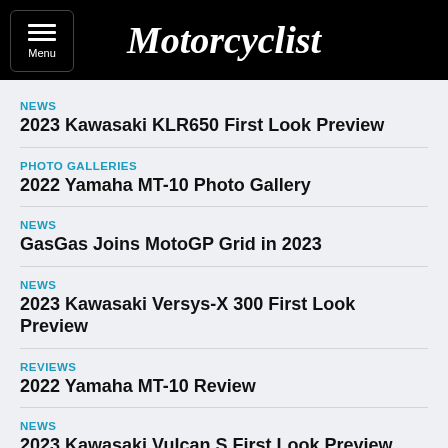Motorcyclist
NEWS
2023 Kawasaki KLR650 First Look Preview
PHOTO GALLERIES
2022 Yamaha MT-10 Photo Gallery
NEWS
GasGas Joins MotoGP Grid in 2023
NEWS
2023 Kawasaki Versys-X 300 First Look Preview
REVIEWS
2022 Yamaha MT-10 Review
NEWS
2023 Kawasaki Vulcan S First Look Preview